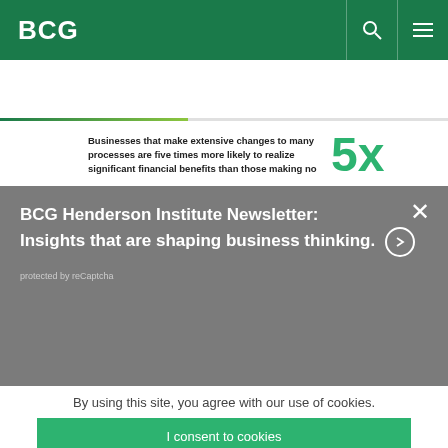BCG
Businesses that make extensive changes to many processes are five times more likely to realize significant financial benefits than those making no
5x
BCG Henderson Institute Newsletter: Insights that are shaping business thinking. →
protected by reCaptcha
By using this site, you agree with our use of cookies.
I consent to cookies
Want to know more?
Read our Cookie Policy